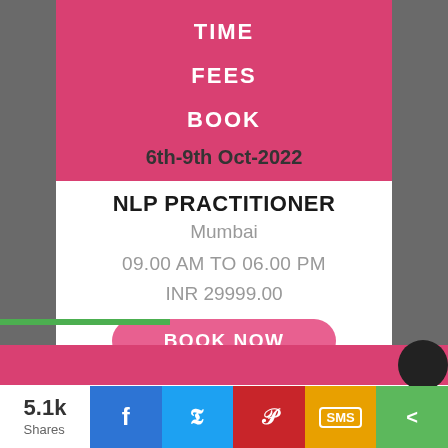TIME
FEES
BOOK
6th-9th Oct-2022
NLP PRACTITIONER
Mumbai
09.00 AM TO 06.00 PM
INR 29999.00
BOOK NOW
our Goals
5.1k Shares